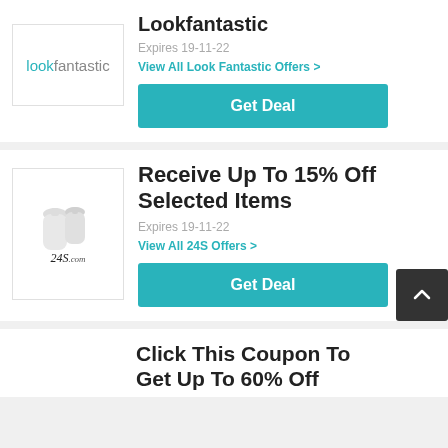[Figure (logo): Lookfantastic logo — 'look' in teal, 'fantastic' in grey]
Lookfantastic
Expires 19-11-22
View All Look Fantastic Offers >
Get Deal
[Figure (logo): 24S.com logo with decorative perfume bottle silhouettes]
Receive Up To 15% Off Selected Items
Expires 19-11-22
View All 24S Offers >
Get Deal
Click This Coupon To Get Up To 60% Off